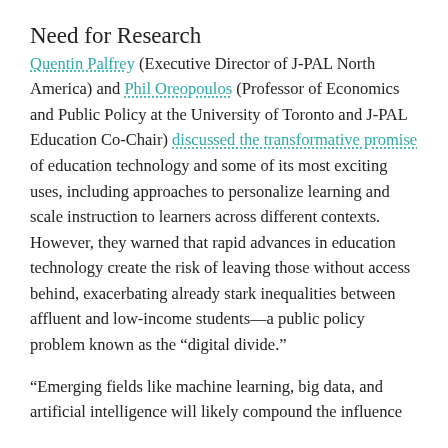Need for Research
Quentin Palfrey (Executive Director of J-PAL North America) and Phil Oreopoulos (Professor of Economics and Public Policy at the University of Toronto and J-PAL Education Co-Chair) discussed the transformative promise of education technology and some of its most exciting uses, including approaches to personalize learning and scale instruction to learners across different contexts. However, they warned that rapid advances in education technology create the risk of leaving those without access behind, exacerbating already stark inequalities between affluent and low-income students—a public policy problem known as the “digital divide.”
“Emerging fields like machine learning, big data, and artificial intelligence will likely compound the influence